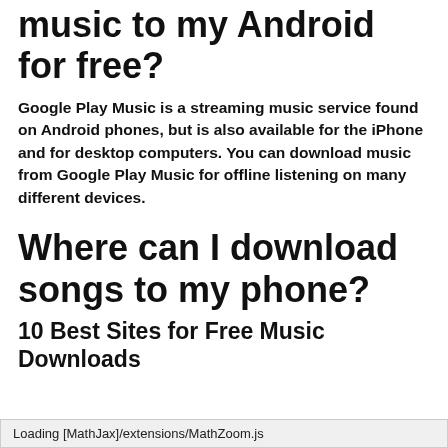music to my Android for free?
Google Play Music is a streaming music service found on Android phones, but is also available for the iPhone and for desktop computers. You can download music from Google Play Music for offline listening on many different devices.
Where can I download songs to my phone?
10 Best Sites for Free Music Downloads
Loading [MathJax]/extensions/MathZoom.js